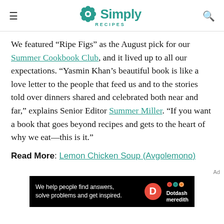Simply Recipes
We featured “Ripe Figs” as the August pick for our Summer Cookbook Club, and it lived up to all our expectations. “Yasmin Khan’s beautiful book is like a love letter to the people that feed us and to the stories told over dinners shared and celebrated both near and far,” explains Senior Editor Summer Miller. “If you want a book that goes beyond recipes and gets to the heart of why we eat—this is it.”
Read More: Lemon Chicken Soup (Avgolemono)
[Figure (other): Dotdash Meredith advertisement banner: 'We help people find answers, solve problems and get inspired.' with Dotdash Meredith logo]